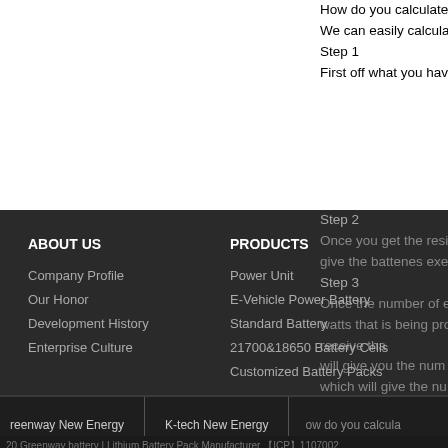How do you calculate
We can easily calcula
Step 1
First off what you hav
Step 2
Once you get the resi give the battenes exe
Step 3
Once the number of e watts that is being pro
receive tha will give you the num which will give the nu
how do you calcula
ABOUT US
Company Profile
Our Honor
Development History
Enterprise Culture
PRODUCTS
Power Unit
E-Vehicle Power Battery
Standard Battery
21700&18650 Battery Cells
Customized Battery Packs
reenway New Energy
K-tech New Energy
20 Greenway battery | Lithium Battery Pack Manufacturer 【ICP】1107002